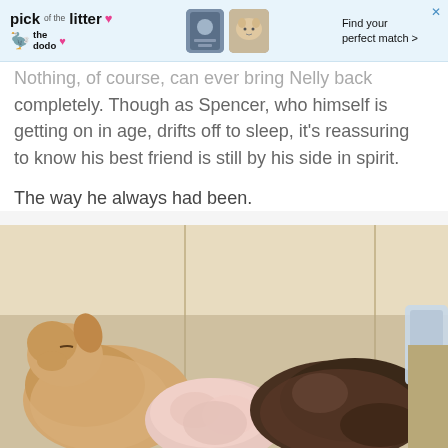[Figure (screenshot): Advertisement banner for 'pick of the litter' by The Dodo with pet matching app imagery]
Nothing, of course, can ever bring Nelly back completely. Though as Spencer, who himself is getting on in age, drifts off to sleep, it's reassuring to know his best friend is still by his side in spirit.
The way he always had been.
[Figure (photo): Two dogs sleeping together on a cream/beige leather sofa. A light golden dog is on the left curled up, and a darker dog is on the right. A pink fluffy item is between them.]